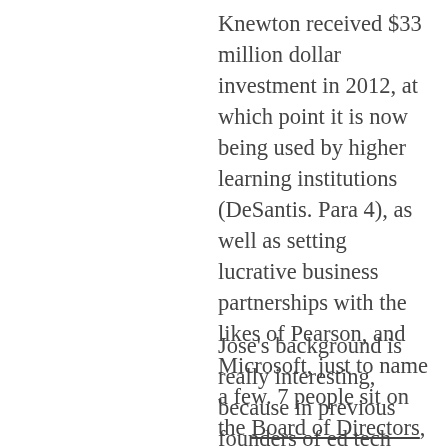Knewton received $33 million dollar investment in 2012, at which point it is now being used by higher learning institutions (DeSantis. Para 4), as well as setting lucrative business partnerships with the likes of Pearson, and Microsoft, just to name a few. 7 people sit on the Board of Directors, of which are involved in ventures, finance and the investment world.
Jose's background is really interesting, because in previous founders of ed tech companies we have been searching through, much of the background is in and around